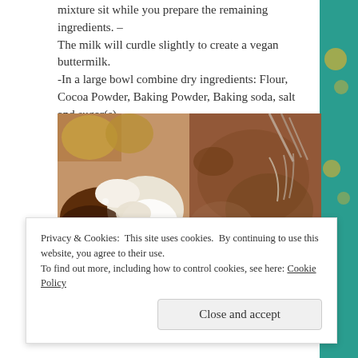mixture sit while you prepare the remaining ingredients. – The milk will curdle slightly to create a vegan buttermilk. -In a large bowl combine dry ingredients: Flour, Cocoa Powder, Baking Powder, Baking soda, salt and sugar(s). -Whisk dry ingredients together to incorporate.
[Figure (photo): Two side-by-side photos: left shows unmixed dry baking ingredients (cocoa powder, flour, sugar/leavening agents) in a bowl; right shows the dry ingredients whisked together into a uniform brown powder with a whisk visible.]
Privacy & Cookies: This site uses cookies. By continuing to use this website, you agree to their use.
To find out more, including how to control cookies, see here: Cookie Policy